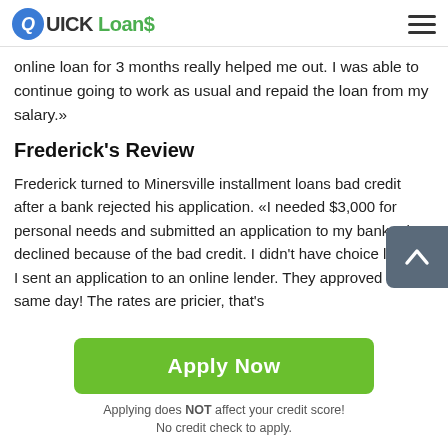QuickLoans
online loan for 3 months really helped me out. I was able to continue going to work as usual and repaid the loan from my salary.»
Frederick's Review
Frederick turned to Minersville installment loans bad credit after a bank rejected his application. «I needed $3,000 for personal needs and submitted an application to my bank. They declined because of the bad credit. I didn't have choice left, so I sent an application to an online lender. They approved on the same day! The rates are pricier, that's
Apply Now
Applying does NOT affect your credit score!
No credit check to apply.